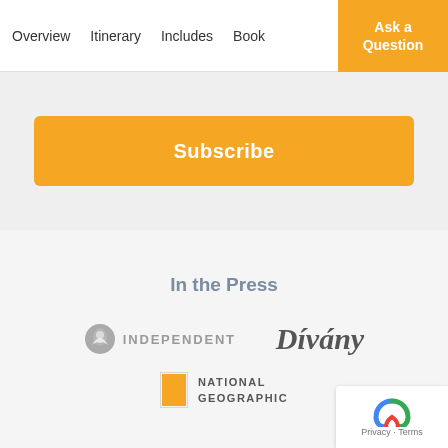Overview  Itinerary  Includes  Book  Ask a Question
Subscribe
In the Press
[Figure (logo): Independent newspaper logo with eagle icon and text INDEPENDENT]
[Figure (logo): Dívány logo in italic serif font]
[Figure (logo): National Geographic logo with yellow rectangle and text NATIONAL GEOGRAPHIC]